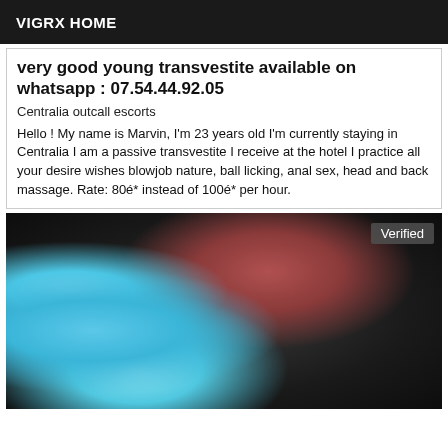VIGRX HOME
very good young transvestite available on whatsapp : 07.54.44.92.05
Centralia outcall escorts
Hello ! My name is Marvin, I'm 23 years old I'm currently staying in Centralia I am a passive transvestite I receive at the hotel I practice all your desire wishes blowjob nature, ball licking, anal sex, head and back massage. Rate: 80é* instead of 100é* per hour.
[Figure (photo): Dark photo showing a person partially visible with teal/blue fabric and dark background, with a 'Verified' badge overlay in the top right corner.]